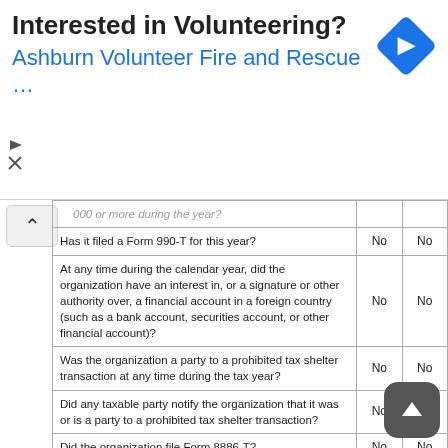[Figure (screenshot): Ad banner: Interested in Volunteering? Ashburn Volunteer Fire and Rescue ... with a blue diamond navigation icon]
| Question | Col A | Col B |
| --- | --- | --- |
| 000 or more during the year? |  |  |
| Has it filed a Form 990-T for this year? | No | No |
| At any time during the calendar year, did the organization have an interest in, or a signature or other authority over, a financial account in a foreign country (such as a bank account, securities account, or other financial account)? | No | No |
| Was the organization a party to a prohibited tax shelter transaction at any time during the tax year? | No | No |
| Did any taxable party notify the organization that it was or is a party to a prohibited tax shelter transaction? | No | No |
| Did the organization file Form 8886-T? | No | No |
| Does the organization have annual gross receipts that are normally greater than $100,000, and did the organization solicit any contributions that were not tax deductible as charitable contributions? | No | No |
| Did the organization include with every solicitation an express statement that such contributions or gifts were not tax deductible? | No | No |